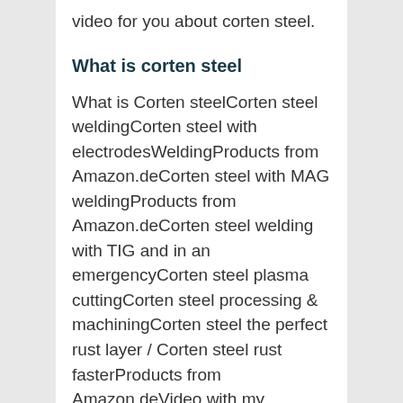video for you about corten steel.
What is corten steel
What is Corten steelCorten steel weldingCorten steel with electrodesWeldingProducts from Amazon.deCorten steel with MAG weldingProducts from Amazon.deCorten steel welding with TIG and in an emergencyCorten steel plasma cuttingCorten steel processing & machiningCorten steel the perfect rust layer / Corten steel rust fasterProducts from Amazon.deVideo with my experiments on Corten steel Ok what is corten steel and what special properties does it have?